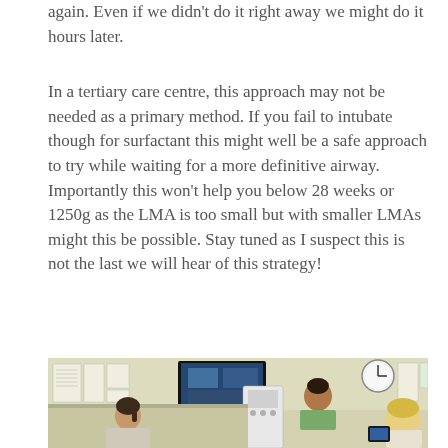again.  Even if we didn't do it right away we might do it hours later.
In a tertiary care centre, this approach may not be needed as a primary method.  If you fail to intubate though for surfactant this might well be a safe approach to try while waiting for a more definitive airway.  Importantly this won't help you below 28 weeks or 1250g as the LMA is too small but with smaller LMAs might this be possible.  Stay tuned as I suspect this is not the last we will hear of this strategy!
[Figure (photo): A hospital/clinical room scene showing medical staff around equipment. A woman with a ponytail and another person with blonde hair are visible in the foreground, a man in a green shirt stands in the background. Medical monitors, a wall clock, papers on the wall, and medical equipment are visible.]